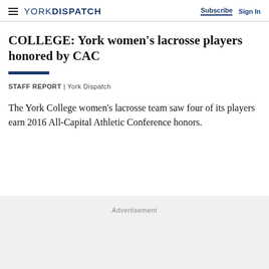YORK DISPATCH | Subscribe  Sign In
COLLEGE: York women's lacrosse players honored by CAC
STAFF REPORT  |  York Dispatch
The York College women's lacrosse team saw four of its players earn 2016 All-Capital Athletic Conference honors.
Advertisement